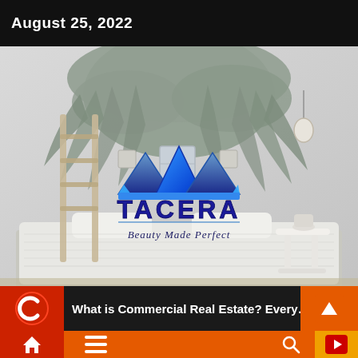August 25, 2022
[Figure (photo): Bedroom interior with white bedding, wooden ladder, white side table, and large drooping leafy plant mural on wall. Overlaid with TACERA real estate logo (blue 3D house/mountain shapes) and tagline 'Beauty Made Perfect'.]
What is Commercial Real Estate? Every…o
Navigation bar with home, menu, search, and play icons